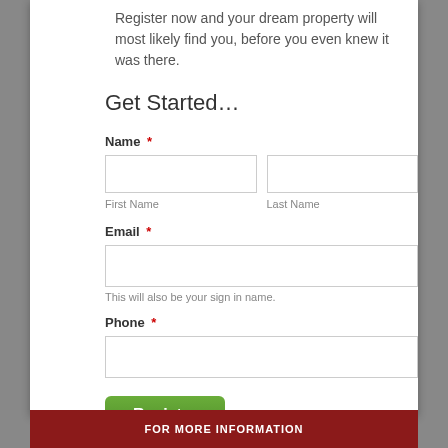Register now and your dream property will most likely find you, before you even knew it was there.
Get Started…
Name *
First Name
Last Name
Email *
This will also be your sign in name.
Phone *
Register
* Indicates a Required Field.
FOR MORE INFORMATION